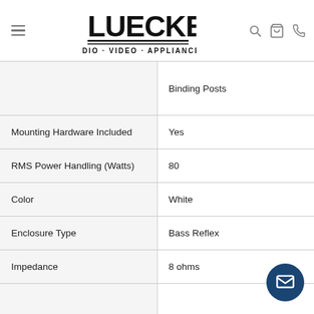[Figure (logo): Luecke Audio Video Appliances logo with hamburger menu icon and search, cart, phone icons]
| Specification | Value |
| --- | --- |
|  | Binding Posts |
| Mounting Hardware Included | Yes |
| RMS Power Handling (Watts) | 80 |
| Color | White |
| Enclosure Type | Bass Reflex |
| Impedance | 8 ohms |